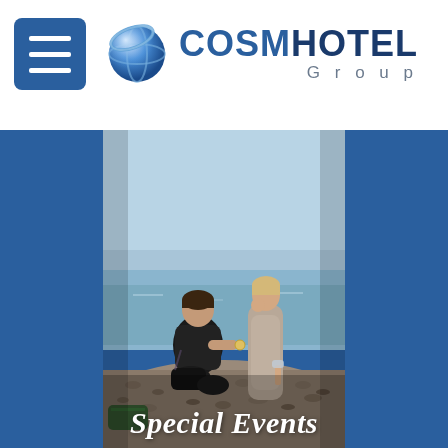COSMHOTEL Group
[Figure (photo): A man kneeling on a rocky beach proposing to a woman standing before him, with calm blue water in the background. A marriage proposal scene outdoors by the sea.]
Special Events